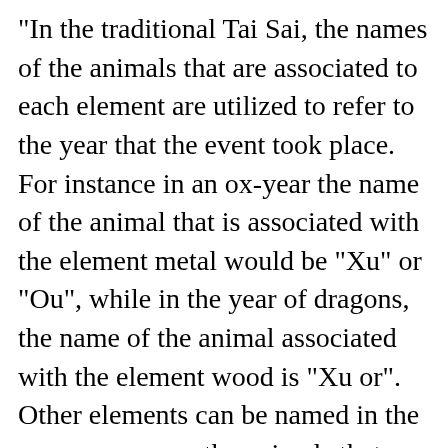"In the traditional Tai Sai, the names of the animals that are associated to each element are utilized to refer to the year that the event took place. For instance in an ox-year the name of the animal that is associated with the element metal would be "Xu" or "Ou", while in the year of dragons, the name of the animal associated with the element wood is "Xu or". Other elements can be named in the same manner as the animals that they're associated with. The possibilities for twenty-one outcomes, which are the following If one rolls two dice there is 50% chance of obtaining one result from the twenty-one possible outcomes. If